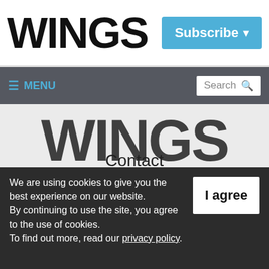WINGS
Subscribe
≡ MENU  Search
[Figure (logo): Large WINGS watermark text in dark on light gray background]
Contact
Advertise
We are using cookies to give you the best experience on our website. By continuing to use the site, you agree to the use of cookies. To find out more, read our privacy policy.
I agree